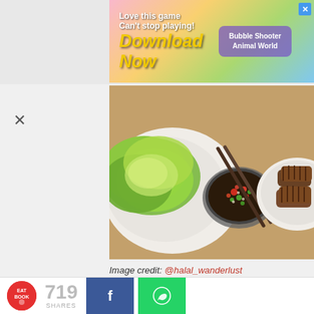[Figure (screenshot): Advertisement banner: 'Love this game Can't stop playing! Download Now' with colorful game graphics and Bubble Shooter Animal World panel, and blue X close button]
[Figure (photo): Korean BBQ food photo showing lettuce wraps, a bowl of spicy sauce with chopsticks resting on it, and grilled meat on a plate, set on a wooden table]
Image credit: @halal_wanderlust
Hanssik Korean BBQ Buffet is one of the few halal KBBQ places around. They're the halal sister brand to Daessiksin KBBQ, and have 10-12 different types of meat, along with a free flow of side dishes. They also have a savoury cheese dip that you can set in the middle of the hotplate, so you can coat the marinated meat in molten cheesy goodness! A couple of the old Daessiksin outlets were recently converted to their halal-
[Figure (screenshot): Bottom social share bar with Eatbook logo, 719 shares, Facebook share button, and WhatsApp share button]